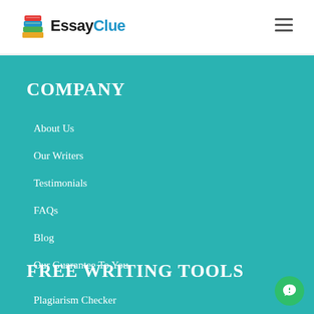[Figure (logo): EssayClue logo with stacked book icon and company name in black and blue text]
COMPANY
About Us
Our Writers
Testimonials
FAQs
Blog
Our Guarantee To You
FREE WRITING TOOLS
Plagiarism Checker